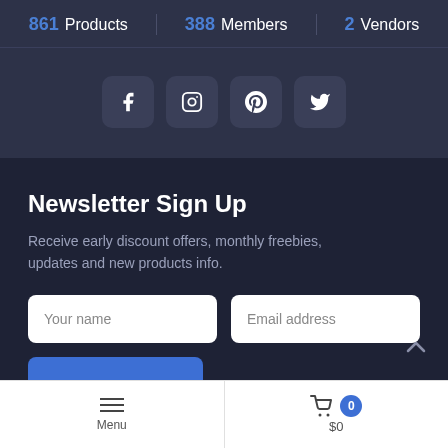861 Products | 388 Members | 2 Vendors
[Figure (other): Social media icons: Facebook, Instagram, Pinterest, Twitter in rounded square buttons]
Newsletter Sign Up
Receive early discount offers, monthly freebies, updates and new products info.
Your name [input field]   Email address [input field]
Menu | $0 cart